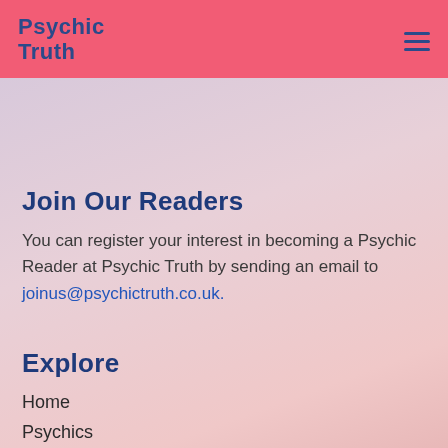Psychic Truth
Join Our Readers
You can register your interest in becoming a Psychic Reader at Psychic Truth by sending an email to joinus@psychictruth.co.uk.
Explore
Home
Psychics
Blog Insights
iWallet
Fast Pay
Satisfaction Guarantee
Contact Us